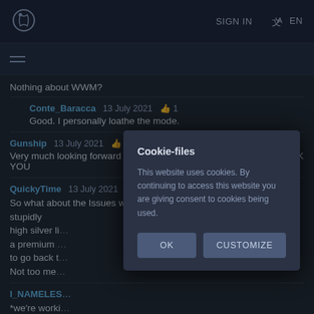SIGN IN  EN
Nothing about WWM?
Conte_Baracca  13 July 2021  👍 1
Good. I personally loathe the mode.
Gunship  13 July 2021  👍 2
Very much looking forward to Naval Enduring Confrontation !!! THANK YOU
QuickyTime  13 July 2021  👍 2
So what about the Issues with Simulator battles currently? Like stupidly high silver li... a premium ... to go back t... Not too me...
I_NAMELES...
*we're worki... upcoming u... aswell ? Bec... aware, the T... to the real Type 74 ? Type 74 which could have potentially be changed into
Cookie-files

This website uses cookies. By continuing to access this website you are giving consent to cookies being used.

OK    CUSTOMIZE